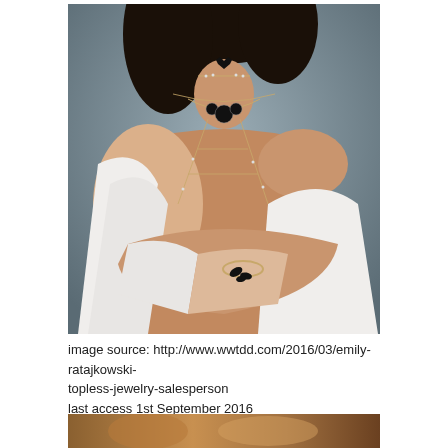[Figure (photo): A woman wearing layered gold body chain jewelry including a choker, necklace with black stones, and a body chain, with a white off-shoulder top and a black and gold bracelet.]
image source: http://www.wwtdd.com/2016/03/emily-ratajkowski-topless-jewelry-salesperson
last access 1st September 2016
[Figure (photo): Partial view of another photo at the bottom of the page showing warm-toned content.]